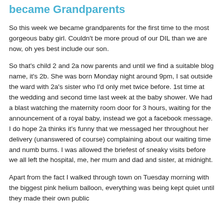became Grandparents
So this week we became grandparents for the first time to the most gorgeous baby girl. Couldn't be more proud of our DIL than we are now, oh yes best include our son.
So that's child 2 and 2a now parents and until we find a suitable blog name, it's 2b. She was born Monday night around 9pm, I sat outside the ward with 2a's sister who I'd only met twice before. 1st time at the wedding and second time last week at the baby shower. We had a blast watching the maternity room door for 3 hours, waiting for the announcement of a royal baby, instead we got a facebook message. I do hope 2a thinks it's funny that we messaged her throughout her delivery (unanswered of course) complaining about our waiting time and numb bums. I was allowed the briefest of sneaky visits before we all left the hospital, me, her mum and dad and sister, at midnight.
Apart from the fact I walked through town on Tuesday morning with the biggest pink helium balloon, everything was being kept quiet until they made their own public announcement to family and friends.